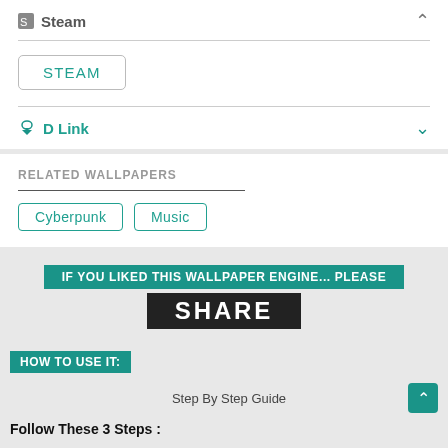Steam
STEAM
D Link
RELATED WALLPAPERS
Cyberpunk  Music
IF YOU LIKED THIS WALLPAPER ENGINE... PLEASE
SHARE
HOW TO USE IT:
Step By Step Guide
Follow These 3 Steps :